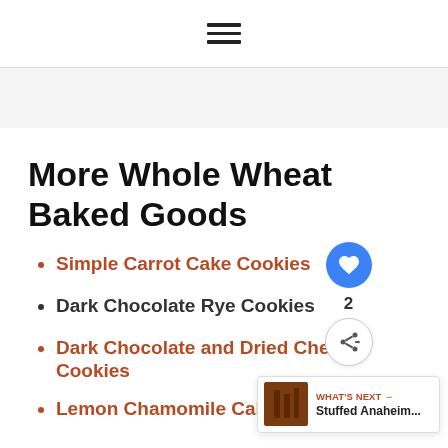≡
[Figure (other): Gray advertisement banner placeholder]
More Whole Wheat Baked Goods
Simple Carrot Cake Cookies
Dark Chocolate Rye Cookies
Dark Chocolate and Dried Cherry Cookies
Lemon Chamomile Cake